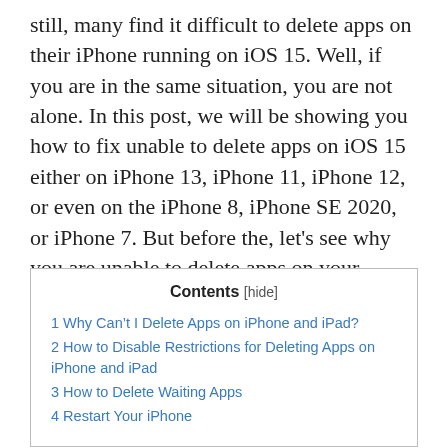still, many find it difficult to delete apps on their iPhone running on iOS 15. Well, if you are in the same situation, you are not alone. In this post, we will be showing you how to fix unable to delete apps on iOS 15 either on iPhone 13, iPhone 11, iPhone 12, or even on the iPhone 8, iPhone SE 2020, or iPhone 7. But before the, let's see why you are unable to delete apps on your iPhone.
| Contents |
| --- |
| 1 Why Can't I Delete Apps on iPhone and iPad? |
| 2 How to Disable Restrictions for Deleting Apps on iPhone and iPad |
| 3 How to Delete Waiting Apps |
| 4 Restart Your iPhone |